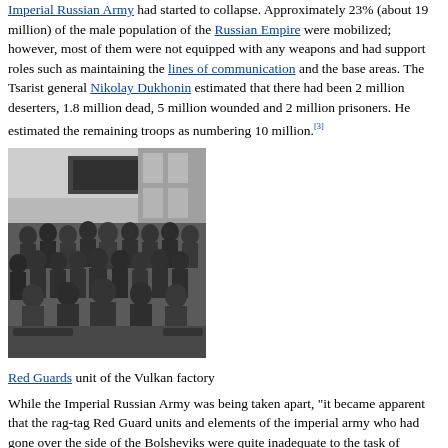Imperial Russian Army had started to collapse. Approximately 23% (about 19 million) of the male population of the Russian Empire were mobilized; however, most of them were not equipped with any weapons and had support roles such as maintaining the lines of communication and the base areas. The Tsarist general Nikolay Dukhonin estimated that there had been 2 million deserters, 1.8 million dead, 5 million wounded and 2 million prisoners. He estimated the remaining troops as numbering 10 million.[3]
[Figure (photo): Black and white historical photograph of a Red Guards unit of the Vulkan factory, showing a large group of men posed together in front of a building with a banner in Russian Cyrillic script.]
Red Guards unit of the Vulkan factory
While the Imperial Russian Army was being taken apart, "it became apparent that the rag-tag Red Guard units and elements of the imperial army who had gone over the side of the Bolsheviks were quite inadequate to the task of defending the new government against external foes." Therefore, the Council of People's Commissars decided to form the Red Army on 28 January 1918.[5]